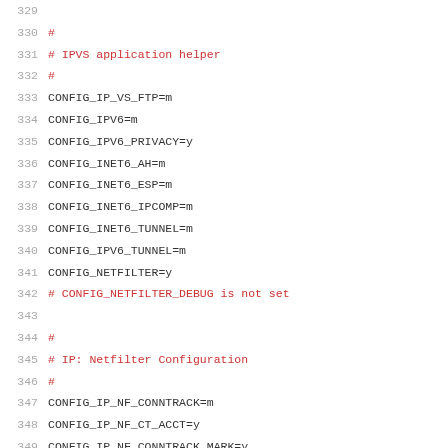329 (partial line visible at top)
330 #
331 # IPVS application helper
332 #
333 CONFIG_IP_VS_FTP=m
334 CONFIG_IPV6=m
335 CONFIG_IPV6_PRIVACY=y
336 CONFIG_INET6_AH=m
337 CONFIG_INET6_ESP=m
338 CONFIG_INET6_IPCOMP=m
339 CONFIG_INET6_TUNNEL=m
340 CONFIG_IPV6_TUNNEL=m
341 CONFIG_NETFILTER=y
342 # CONFIG_NETFILTER_DEBUG is not set
343 (blank)
344 #
345 # IP: Netfilter Configuration
346 #
347 CONFIG_IP_NF_CONNTRACK=m
348 CONFIG_IP_NF_CT_ACCT=y
349 CONFIG_IP_NF_CONNTRACK_MARK=y
350 # CONFIG_IP_NF_CT_PROTO_SCTP is not set